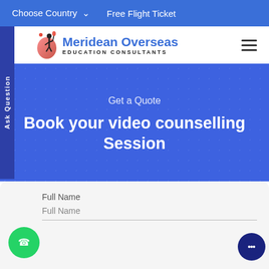Choose Country ∨   Free Flight Ticket
[Figure (logo): Meridean Overseas Education Consultants logo with figure holding torch]
Get a Quote
Book your video counselling Session
Full Name
Full Name